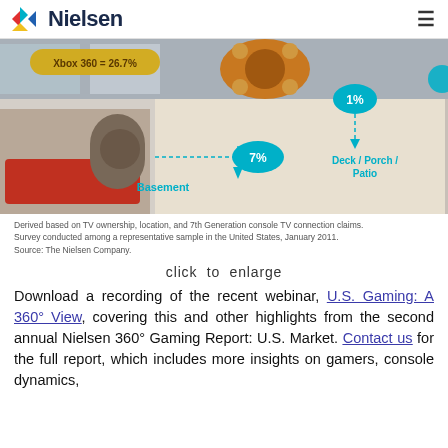Nielsen
[Figure (infographic): Nielsen infographic showing room locations for gaming consoles. Partial view showing an Xbox 360 label (26.7%), a 3D floorplan illustration with cyan/teal bubble labels: Basement 7%, Deck/Porch/Patio 1%, 1% (another area). Background shows a living room image and overhead floorplan.]
Derived based on TV ownership, location, and 7th Generation console TV connection claims. Survey conducted among a representative sample in the United States, January 2011. Source: The Nielsen Company.
click to enlarge
Download a recording of the recent webinar, U.S. Gaming: A 360° View, covering this and other highlights from the second annual Nielsen 360° Gaming Report: U.S. Market. Contact us for the full report, which includes more insights on gamers, console dynamics,